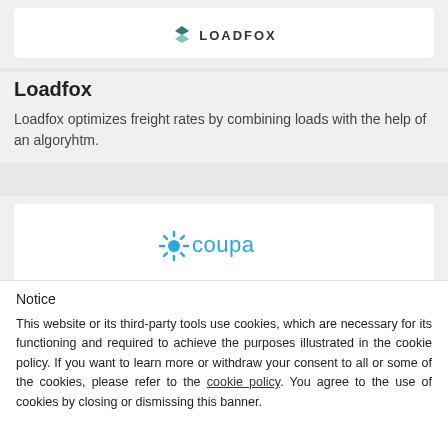[Figure (logo): Loadfox logo with teal downward chevron/arrow icon and uppercase text LOADFOX]
Loadfox
Loadfox optimizes freight rates by combining loads with the help of an algoryhtm.
[Figure (logo): Coupa logo with blue sunburst/asterisk icon and lowercase blue text 'coupa']
Coupa
Notice
This website or its third-party tools use cookies, which are necessary for its functioning and required to achieve the purposes illustrated in the cookie policy. If you want to learn more or withdraw your consent to all or some of the cookies, please refer to the cookie policy. You agree to the use of cookies by closing or dismissing this banner.